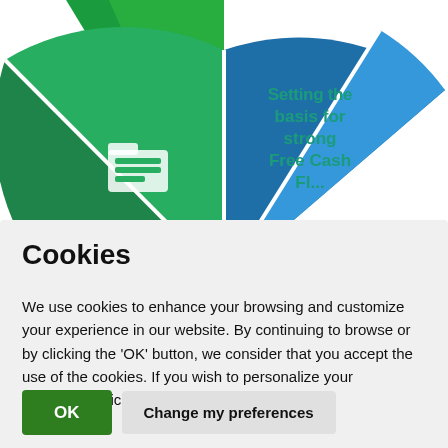[Figure (infographic): Partial pie/donut chart infographic visible at top of page showing green and blue segments. Center text reads 'Setting the basis for strong Free Cash Fl...' in teal. Green segment has a white folder/cash icon.]
Cookies
We use cookies to enhance your browsing and customize your experience in our website. By continuing to browse or by clicking the ‘OK’ button, we consider that you accept the use of the cookies. If you wish to personalize your experience click in Change my preferences.